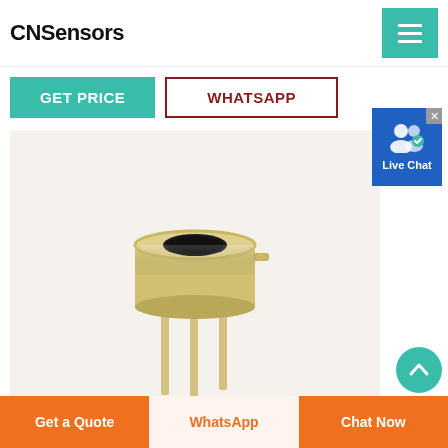CNSensors
GET PRICE
WHATSAPP
[Figure (photo): A TO-5 style infrared thermopile sensor with metallic cap with dark sensor window on top and three gold metal pins at the bottom, photographed on a light beige background.]
Cabinet 3c Battery 3W LED Ni…
Get a Quote
WhatsApp
Chat Now